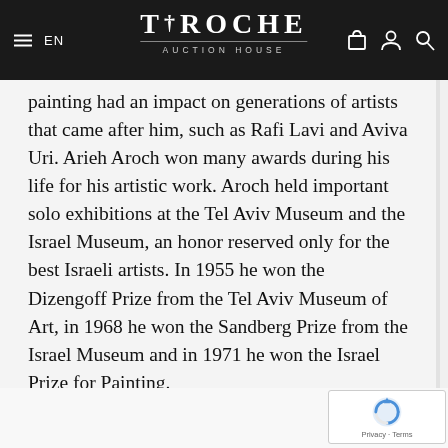TIROCHE AUCTION HOUSE
painting had an impact on generations of artists that came after him, such as Rafi Lavi and Aviva Uri. Arieh Aroch won many awards during his life for his artistic work. Aroch held important solo exhibitions at the Tel Aviv Museum and the Israel Museum, an honor reserved only for the best Israeli artists. In 1955 he won the Dizengoff Prize from the Tel Aviv Museum of Art, in 1968 he won the Sandberg Prize from the Israel Museum and in 1971 he won the Israel Prize for Painting.
[Figure (logo): reCAPTCHA badge with spinning arrows icon and Privacy - Terms link]